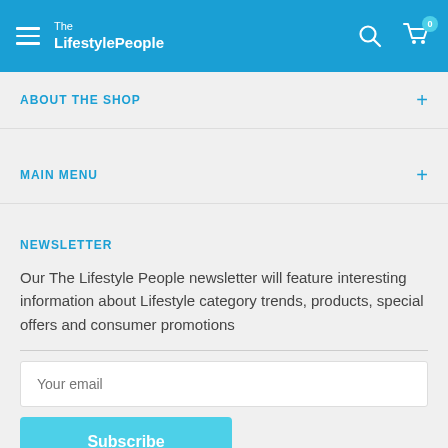The LifestylePeople
ABOUT THE SHOP
MAIN MENU
NEWSLETTER
Our The Lifestyle People newsletter will feature interesting information about Lifestyle category trends, products, special offers and consumer promotions
Your email
Subscribe